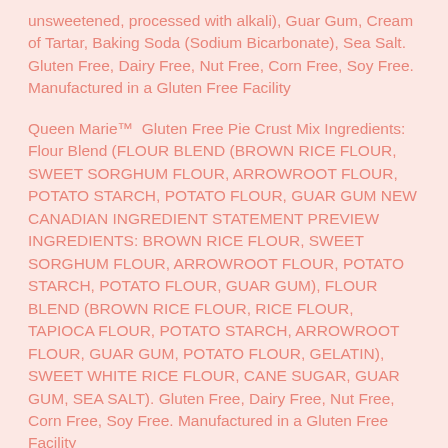unsweetened, processed with alkali), Guar Gum, Cream of Tartar, Baking Soda (Sodium Bicarbonate), Sea Salt. Gluten Free, Dairy Free, Nut Free, Corn Free, Soy Free. Manufactured in a Gluten Free Facility
Queen Marie™  Gluten Free Pie Crust Mix Ingredients: Flour Blend (FLOUR BLEND (BROWN RICE FLOUR, SWEET SORGHUM FLOUR, ARROWROOT FLOUR, POTATO STARCH, POTATO FLOUR, GUAR GUM NEW CANADIAN INGREDIENT STATEMENT PREVIEW INGREDIENTS: BROWN RICE FLOUR, SWEET SORGHUM FLOUR, ARROWROOT FLOUR, POTATO STARCH, POTATO FLOUR, GUAR GUM), FLOUR BLEND (BROWN RICE FLOUR, RICE FLOUR, TAPIOCA FLOUR, POTATO STARCH, ARROWROOT FLOUR, GUAR GUM, POTATO FLOUR, GELATIN), SWEET WHITE RICE FLOUR, CANE SUGAR, GUAR GUM, SEA SALT). Gluten Free, Dairy Free, Nut Free, Corn Free, Soy Free. Manufactured in a Gluten Free Facility
Queen Marie™  Biscuit Mix Ingredients: BISCUIT MIX (POTATO STARCH, TAPIOCA FLOUR, WHITE RICE FLOUR, BROWN RICE FLOUR, SWEET WHITE RICE FLOUR,